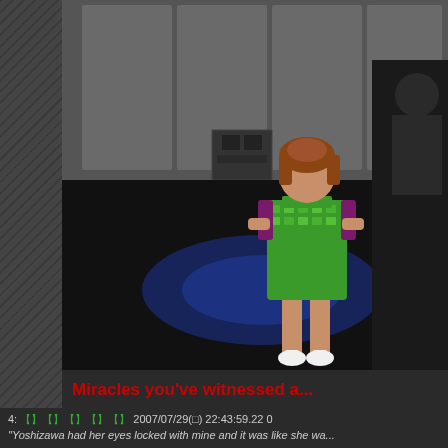[Figure (photo): A woman in a green sequined short dress and white high heels standing with hands on hips in what appears to be a backstage or rehearsal room with a dark floor and blue spotlight effect.]
Miracles you've witnessed a...
4: 【】【】【】【】【】 2007/07/29(□) 22:43:59.22 0
"Yoshizawa had her eyes locked with mine and it was like she wa... my heart belongs exclusively to Koharu so I just ignored her." T... disappointed for a while there."